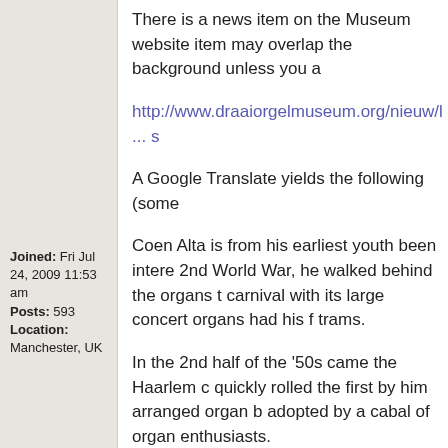Joined: Fri Jul 24, 2009 11:53 am
Posts: 593
Location: Manchester, UK
There is a news item on the Museum website item may overlap the background unless you a
http://www.draaiorgelmuseum.org/nieuw/l ... s
A Google Translate yields the following (some
Coen Alta is from his earliest youth been intere 2nd World War, he walked behind the organs t carnival with its large concert organs had his f trams.
In the 2nd half of the '50s came the Haarlem c quickly rolled the first by him arranged organ b adopted by a cabal of organ enthusiasts.
Coen was a board member of the Haarlem bra organize events that made it possible that add this gigantic organ cover. When the restoratio Vineyard in Long Street.
On 28 March 1962 the Foundation City Haarle and to find a suitable place. Naturally, Coen w included.